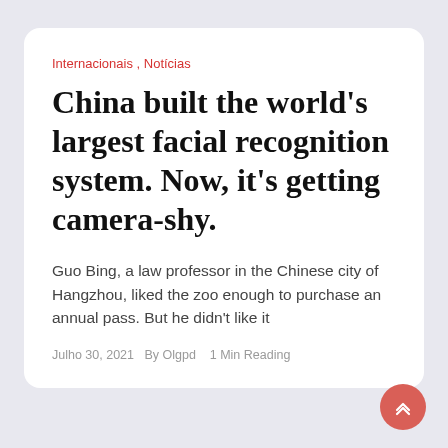Internacionais , Notícias
China built the world's largest facial recognition system. Now, it's getting camera-shy.
Guo Bing, a law professor in the Chinese city of Hangzhou, liked the zoo enough to purchase an annual pass. But he didn't like it
Julho 30, 2021   By Olgpd   1 Min Reading